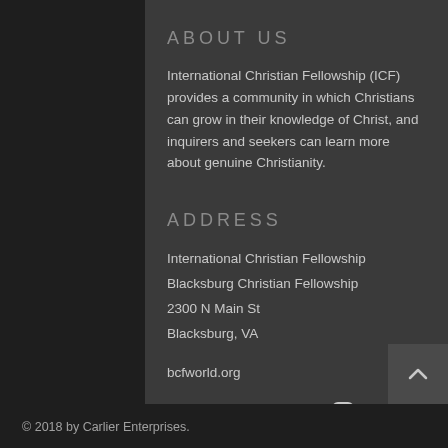ABOUT US
International Christian Fellowship (ICF) provides a community in which Christians can grow in their knowledge of Christ, and inquirers and seekers can learn more about genuine Christianity.
ADDRESS
International Christian Fellowship
Blacksburg Christian Fellowship
2300 N Main St
Blacksburg, VA
bcfworld.org
[Figure (illustration): Social media icons: Facebook (f), Google+ (G+), Instagram (circle with camera icon)]
© 2018 by Carlier Enterprises.